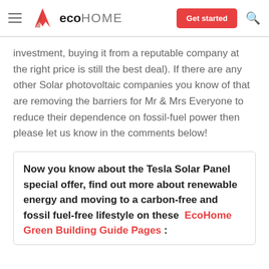ecoHOME — Get started
investment, buying it from a reputable company at the right price is still the best deal). If there are any other Solar photovoltaic companies you know of that are removing the barriers for Mr & Mrs Everyone to reduce their dependence on fossil-fuel power then please let us know in the comments below!
Now you know about the Tesla Solar Panel special offer, find out more about renewable energy and moving to a carbon-free and fossil fuel-free lifestyle on these  EcoHome Green Building Guide Pages :